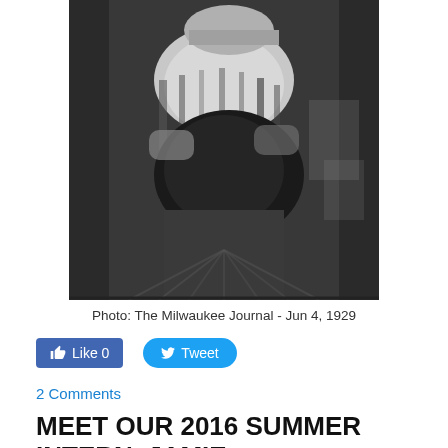[Figure (photo): Black and white historical photograph of a person holding something, from The Milwaukee Journal, June 4, 1929]
Photo: The Milwaukee Journal - Jun 4, 1929
[Figure (screenshot): Social media buttons: Like 0 (Facebook) and Tweet (Twitter)]
2 Comments
MEET OUR 2016 SUMMER INTERN, JAMIE SNYDER!